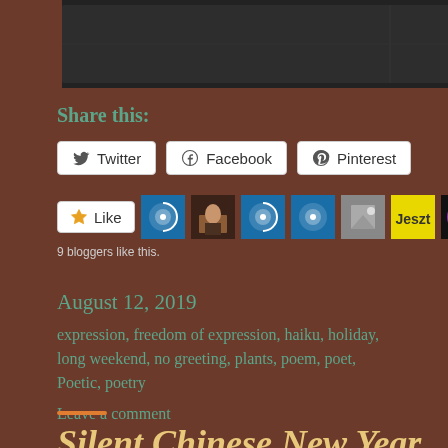[Figure (photo): Dark gray/black surface photo at the top of the page]
Share this:
Twitter  Facebook  Pinterest (social share buttons)
Like button with 9 blogger avatars. 9 bloggers like this.
August 12, 2019
expression, freedom of expression, haiku, holiday, long weekend, no greeting, plants, poem, poet, Poetic, poetry
Leave a comment
Silent Chinese New Year…